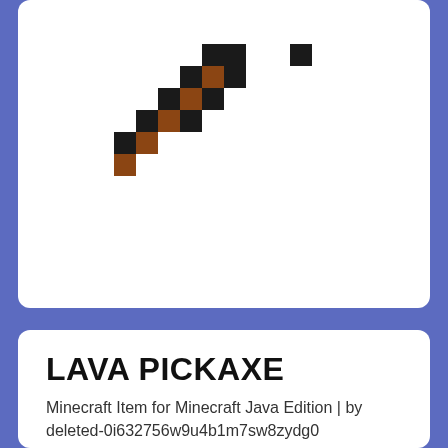[Figure (illustration): Pixel art of a Minecraft wooden pickaxe item, made of black and brown squares arranged diagonally]
LAVA PICKAXE
Minecraft Item for Minecraft Java Edition | by deleted-0i632756w9u4b1m7sw8zydg0
LAVA PICKAXE was remixed from Pickaxe.
REMIX ITEM
0
154k